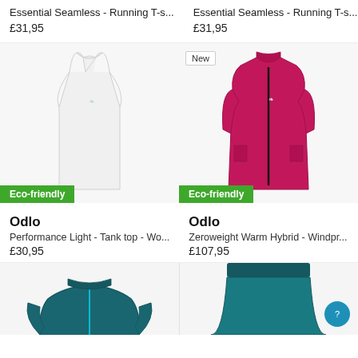Essential Seamless - Running T-s...
Essential Seamless - Running T-s...
£31,95
£31,95
[Figure (photo): White sleeveless tank top with Eco-friendly badge]
[Figure (photo): Magenta zip-up running jacket with New and Eco-friendly badges]
Odlo
Odlo
Performance Light - Tank top - Wo...
Zeroweight Warm Hybrid - Windpr...
£30,95
£107,95
[Figure (photo): Teal/dark blue zip-up jacket partially visible at bottom]
[Figure (photo): Dark teal skirt/shorts partially visible at bottom]